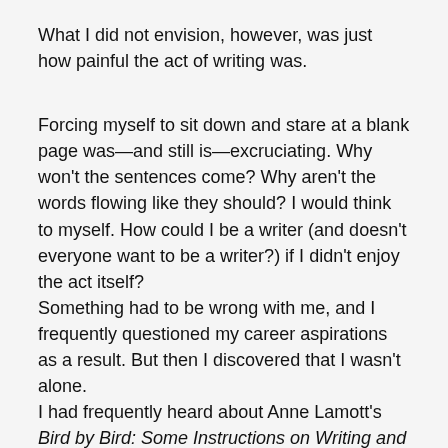What I did not envision, however, was just how painful the act of writing was.
Forcing myself to sit down and stare at a blank page was—and still is—excruciating. Why won't the sentences come? Why aren't the words flowing like they should? I would think to myself. How could I be a writer (and doesn't everyone want to be a writer?) if I didn't enjoy the act itself?
Something had to be wrong with me, and I frequently questioned my career aspirations as a result. But then I discovered that I wasn't alone.
I had frequently heard about Anne Lamott's Bird by Bird: Some Instructions on Writing and Life from numerous writers, but it took me quite a while—several years, in fact—to finally purchase and read it. A writing manual just did not seem very entertaining to me, despite my love of